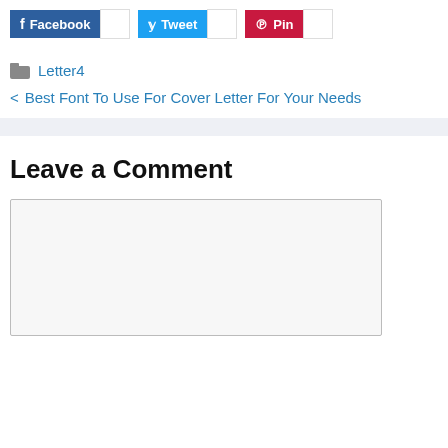[Figure (other): Social sharing buttons: Facebook, Tweet, Pin with share counts]
Letter4
< Best Font To Use For Cover Letter For Your Needs
Leave a Comment
[Figure (other): Empty comment text area input box]